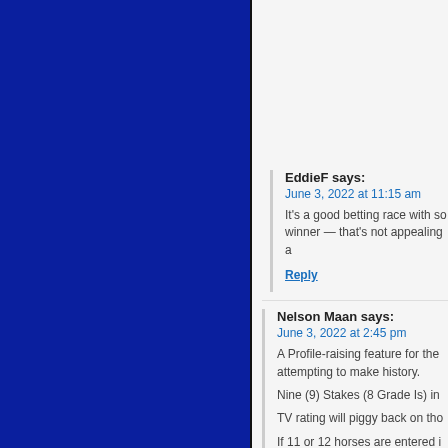[Figure (other): Dark blue solid panel on the left side of the page]
EddieF says:
June 3, 2022 at 11:15 am
It's a good betting race with so winner — that's not appealing a
Reply
Nelson Maan says:
June 3, 2022 at 2:45 pm
A Profile-raising feature for the attempting to make history.
Nine (9) Stakes (8 Grade Is) in
TV rating will piggy back on tho
If 11 or 12 horses are entered i
Reply
Liam says:
June 3, 2022 at 6:23 pm